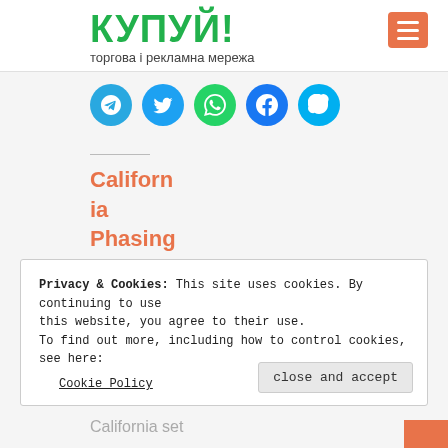КУПУЙ!
торгова і рекламна мережа
[Figure (illustration): Row of five social media icons (circles): Telegram (blue), Twitter (blue), WhatsApp (green), Facebook (blue), Skype (light blue)]
California Phasing Out Gas
Privacy & Cookies: This site uses cookies. By continuing to use this website, you agree to their use.
To find out more, including how to control cookies, see here:
Cookie Policy
close and accept
California set